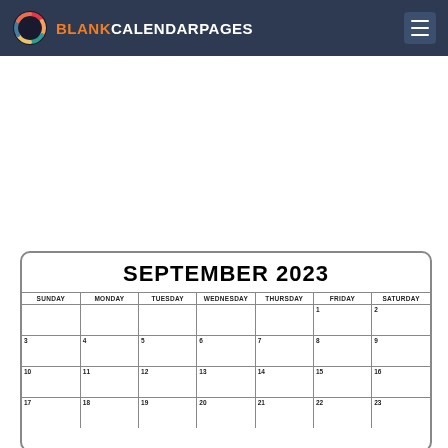BLANKCALENDARPAGES
[Figure (other): September 2023 calendar showing month title, day headers (Sunday through Saturday), and rows of dates from 1-23 visible, with empty cells for writing]
SEPTEMBER 2023
| SUNDAY | MONDAY | TUESDAY | WEDNESDAY | THURSDAY | FRIDAY | SATURDAY |
| --- | --- | --- | --- | --- | --- | --- |
|  |  |  |  |  | 1 | 2 |
| 3 | 4 | 5 | 6 | 7 | 8 | 9 |
| 10 | 11 | 12 | 13 | 14 | 15 | 16 |
| 17 | 18 | 19 | 20 | 21 | 22 | 23 |